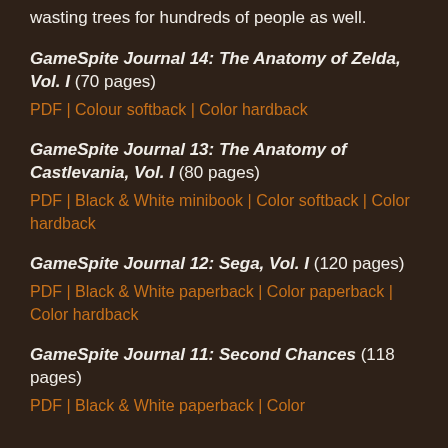wasting trees for hundreds of people as well.
GameSpite Journal 14: The Anatomy of Zelda, Vol. I (70 pages)
PDF | Colour softback | Color hardback
GameSpite Journal 13: The Anatomy of Castlevania, Vol. I (80 pages)
PDF | Black & White minibook | Color softback | Color hardback
GameSpite Journal 12: Sega, Vol. I (120 pages)
PDF | Black & White paperback | Color paperback | Color hardback
GameSpite Journal 11: Second Chances (118 pages)
PDF | Black & White paperback | Color...